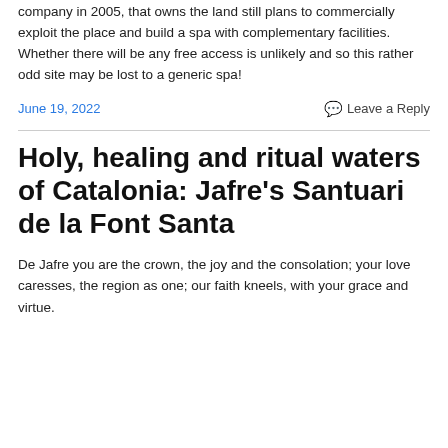company in 2005, that owns the land still plans to commercially exploit the place and build a spa with complementary facilities. Whether there will be any free access is unlikely and so this rather odd site may be lost to a generic spa!
June 19, 2022
Leave a Reply
Holy, healing and ritual waters of Catalonia: Jafre's Santuari de la Font Santa
De Jafre you are the crown, the joy and the consolation; your love caresses, the region as one; our faith kneels, with your grace and virtue.